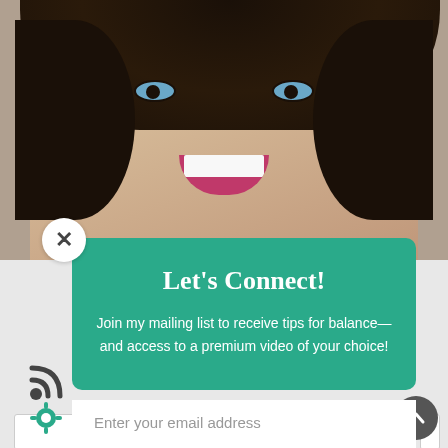[Figure (photo): Close-up photo of a smiling woman with dark curly hair, blue eyes, and red lipstick]
Let's Connect!
Join my mailing list to receive tips for balance—and access to a premium video of your choice!
Enter your email address
SUBSCRIBE!